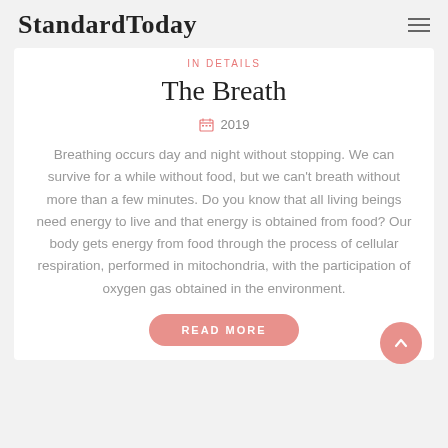StandardToday
IN DETAILS
The Breath
2019
Breathing occurs day and night without stopping. We can survive for a while without food, but we can't breath without more than a few minutes. Do you know that all living beings need energy to live and that energy is obtained from food? Our body gets energy from food through the process of cellular respiration, performed in mitochondria, with the participation of oxygen gas obtained in the environment.
READ MORE